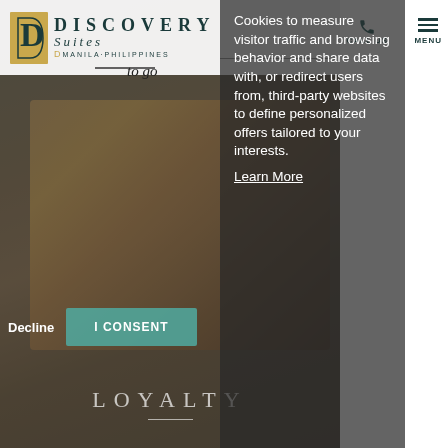[Figure (screenshot): Discovery Suites Manila Philippines hotel website screenshot showing logo header, food/dessert background photo with caramel sauce, cookie consent popup overlay, and Loyalty section at bottom]
DISCOVERY Suites Manila, Philippines | to go
Cookies to measure visitor traffic and browsing behavior and share data with, or redirect users from, third-party websites to define personalized offers tailored to your interests.
Learn More
Decline
I CONSENT
LOYALTY
CALL US
MENU